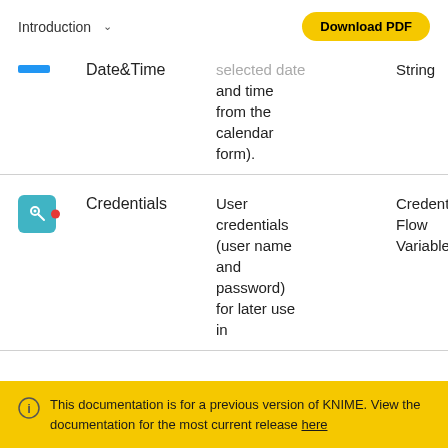Introduction  Download PDF
| Icon | Name | Description | Type |
| --- | --- | --- | --- |
| [blue dash] | Date&Time | selected date and time from the calendar form). | String |
| [credentials icon] | Credentials | User credentials (user name and password) for later use in | Credentials Flow Variable |
This documentation is for a previous version of KNIME. View the documentation for the most current release here